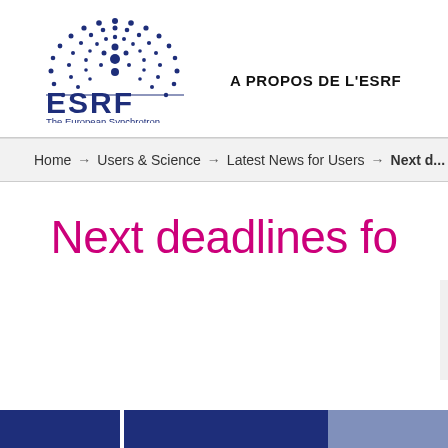[Figure (logo): ESRF logo — circular dot pattern in dark blue above ESRF text. Subtitle: The European Synchrotron]
A PROPOS DE L'ESRF    USERS & SCIENCE
Home → Users & Science → Latest News for Users → Next d...
Next deadlines fo...